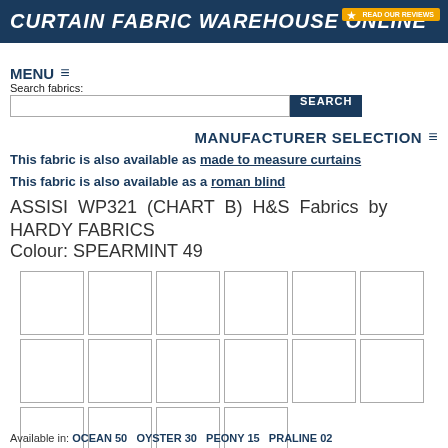CURTAIN FABRIC WAREHOUSE ONLINE
READ OUR REVIEWS
MENU ≡
Search fabrics:
MANUFACTURER SELECTION ≡
This fabric is also available as made to measure curtains
This fabric is also available as a roman blind
ASSISI WP321 (CHART B) H&S Fabrics by HARDY FABRICS
Colour: SPEARMINT 49
[Figure (other): Grid of 16 fabric colour swatch boxes arranged in 3 rows: 6 boxes, 6 boxes, 4 boxes, all empty/white with grey borders]
Available in: OCEAN 50  OYSTER 30  PEONY 15  PRALINE 02